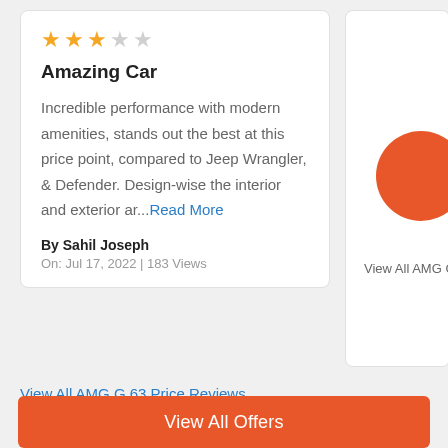★★★☆☆ (3.5 stars)
Amazing Car
Incredible performance with modern amenities, stands out the best at this price point, compared to Jeep Wrangler, & Defender. Design-wise the interior and exterior ar...Read More
By Sahil Joseph
On: Jul 17, 2022 | 183 Views
View All AMG G
View All AMG G 63 Price Reviews
View All Offers